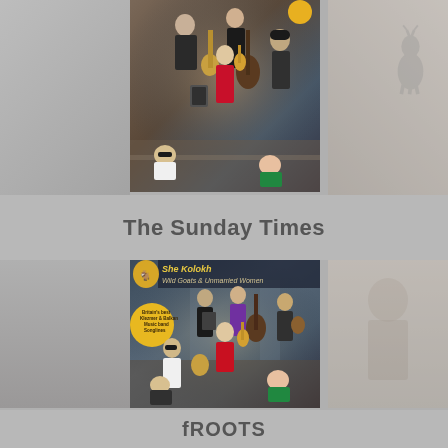[Figure (photo): Partially visible album cover or band photo at top of page — musicians with instruments (guitar, violin, bass) arranged in a dynamic group pose]
The Sunday Times
[Figure (photo): Album cover: She Kolokh — Wild Goats & Unmarried Women. Shows a band of musicians with instruments (accordion, violin, bass, guitar) in a group pose. Yellow badge reads 'Britain's best Klezmer & Balkan Music band Songlines'. Gold deer/goat logo in top left of cover.]
fROOTS